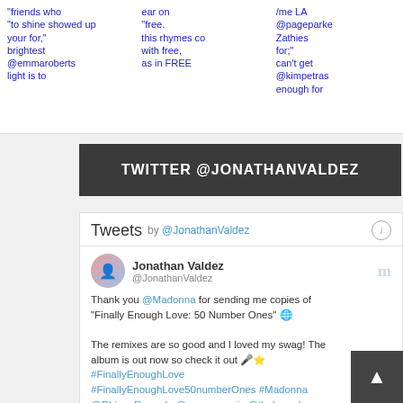[Figure (screenshot): Three columns of broken image icons with blue hyperlinked text fragments: left column mentions 'friends who showed up for, brightest @emmaroberts light is to'; middle column mentions 'ear on free, this rhymes co with free, as in FREE'; right column mentions '/me LA @pageparke Zathies for, can't get @kimpetras enough for']
TWITTER @JONATHANVALDEZ
Tweets by @JonathanValdez
Jonathan Valdez @JonathanValdez Thank you @Madonna for sending me copies of "Finally Enough Love: 50 Number Ones" 🌐 The remixes are so good and I loved my swag! The album is out now so check it out 🎤⭐ #FinallyEnoughLove #FinallyEnoughLove50numberOnes #Madonna @Rhino_Records @warnermusic @thekarpelgroup